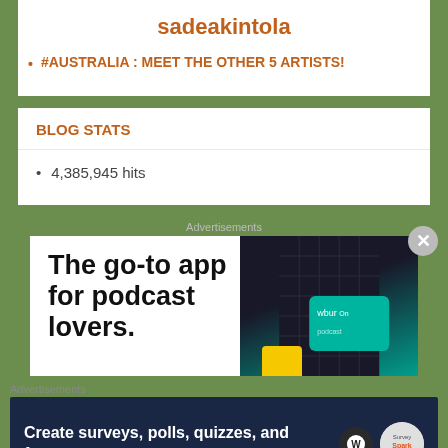sadeakintola
#AUSTRALIA : MEET THE OTHER 5 ARTISTS!
BLOG STATS
4,385,945 hits
Advertisements
[Figure (screenshot): Advertisement: The go-to app for podcast lovers. Shows text on left and smartphone/card images on right.]
Advertisements
[Figure (screenshot): Advertisement: Create surveys, polls, quizzes, and forms. Dark blue background with WordPress and Survey Sparrow logos.]